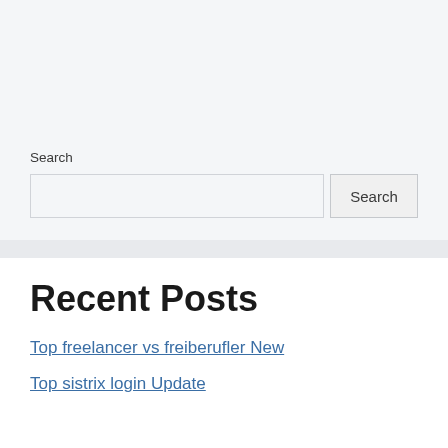Search
Search (input and button)
Recent Posts
Top freelancer vs freiberufler New
Top sistrix login Update